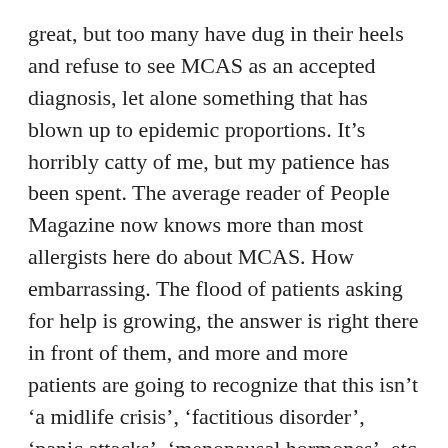great, but too many have dug in their heels and refuse to see MCAS as an accepted diagnosis, let alone something that has blown up to epidemic proportions. It's horribly catty of me, but my patience has been spent. The average reader of People Magazine now knows more than most allergists here do about MCAS. How embarrassing. The flood of patients asking for help is growing, the answer is right there in front of them, and more and more patients are going to recognize that this isn't 'a midlife crisis', 'factitious disorder', 'panic attacks', 'menopausal hormones', etc etc etc… And they're going to show up at the allergists door. Some local allergists are finally able to contradict the powers that be, but swimming upstream is never easy. Young, bright, capable physicians are reluctant to contradict their teachers- especially if they are the head of allergy and Immunology at the Universty, or the head of the